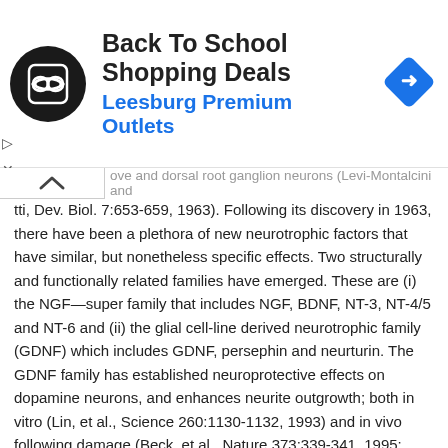[Figure (other): Advertisement banner: Back To School Shopping Deals at Leesburg Premium Outlets, with circular logo and diamond arrow icon]
otti, Dev. Biol. 7:653-659, 1963). Following its discovery in 1963, there have been a plethora of new neurotrophic factors that have similar, but nonetheless specific effects. Two structurally and functionally related families have emerged. These are (i) the NGF—super family that includes NGF, BDNF, NT-3, NT-4/5 and NT-6 and (ii) the glial cell-line derived neurotrophic family (GDNF) which includes GDNF, persephin and neurturin. The GDNF family has established neuroprotective effects on dopamine neurons, and enhances neurite outgrowth; both in vitro (Lin, et al., Science 260:1130-1132, 1993) and in vivo following damage (Beck, et al., Nature 373:339-341, 1995; Tomac, et al., Nature 373:335-339, 1995; Bjorklund, et al., Neurobiol. Dis. 4:186-200, 1997). We have previously shown that GDNF can also enhance fiber outgrowth from embryonic dopamine neurons transplanted into a rat model of PD (Sinclair, et al., Neuroreport 7:2547-2552, 1996). Via modulation of the intact dopaminergic system, GDNF may also have a role in adaptations to drugs of abuse (Messer, et al., Neuron 26:247-257, 2000), and as its receptors are found throughout the brain it is also likely to affect a number of other neurotransmitter systems (Golden, et